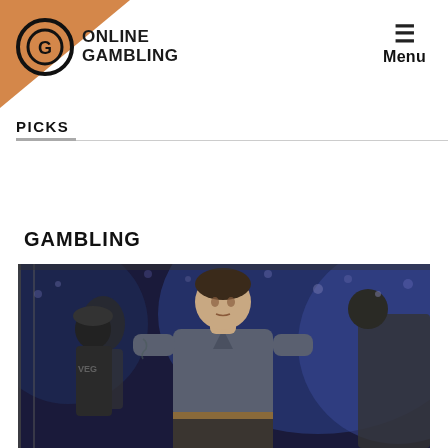ONLINE GAMBLING — Menu
PICKS
GAMBLING
[Figure (photo): MMA fighter standing in arena, wearing grey polo shirt, with other fighters and crowd visible in background with blue lighting]